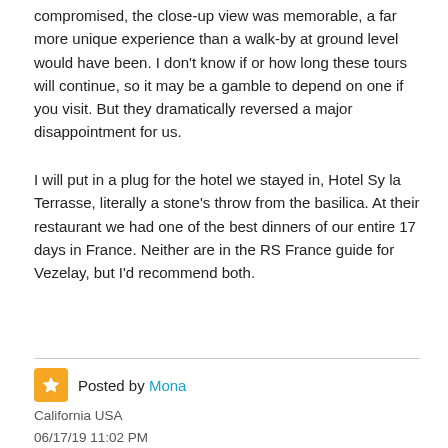compromised, the close-up view was memorable, a far more unique experience than a walk-by at ground level would have been. I don't know if or how long these tours will continue, so it may be a gamble to depend on one if you visit. But they dramatically reversed a major disappointment for us.
I will put in a plug for the hotel we stayed in, Hotel Sy la Terrasse, literally a stone's throw from the basilica. At their restaurant we had one of the best dinners of our entire 17 days in France. Neither are in the RS France guide for Vezelay, but I'd recommend both.
Posted by Mona
California USA
06/17/19 11:02 PM
3192 posts
Glad your disappointment was turned into an unexpected face to face look at these wonderful carvings. Sounds like such a